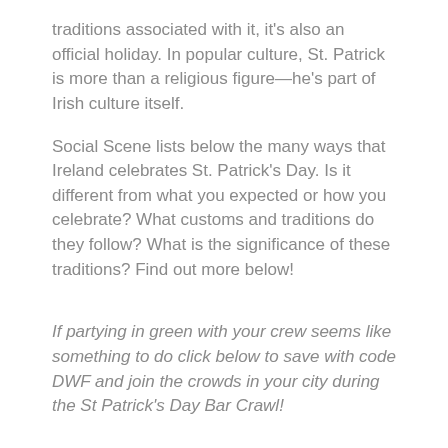traditions associated with it, it's also an official holiday. In popular culture, St. Patrick is more than a religious figure—he's part of Irish culture itself.
Social Scene lists below the many ways that Ireland celebrates St. Patrick's Day. Is it different from what you expected or how you celebrate? What customs and traditions do they follow? What is the significance of these traditions? Find out more below!
If partying in green with your crew seems like something to do click below to save with code DWF and join the crowds in your city during the St Patrick's Day Bar Crawl!